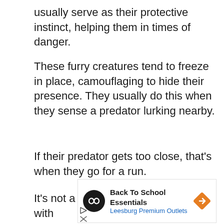usually serve as their protective instinct, helping them in times of danger.
These furry creatures tend to freeze in place, camouflaging to hide their presence. They usually do this when they sense a predator lurking nearby.
If their predator gets too close, that's when they go for a run.
It's not a good tactic, indeed. And with
[Figure (screenshot): Advertisement banner for Back To School Essentials at Leesburg Premium Outlets, with black circular logo, blue subtitle text, and orange diamond navigation arrow icon. Below the banner are play and close control icons.]